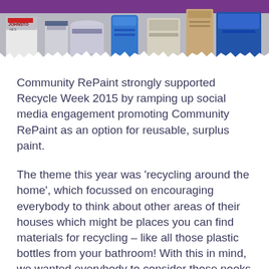[Figure (photo): Photo banner at top of page showing paint tins and art supplies including Johnstone's paint cans, brushes, and blue containers, with a purple/violet overlay at the very top edge.]
Community RePaint strongly supported Recycle Week 2015 by ramping up social media engagement promoting Community RePaint as an option for reusable, surplus paint.
The theme this year was 'recycling around the home', which focussed on encouraging everybody to think about other areas of their houses which might be places you can find materials for recycling – like all those plastic bottles from your bathroom! With this in mind, we wanted everybody to consider those nooks and crannies that might have perfectly good, but